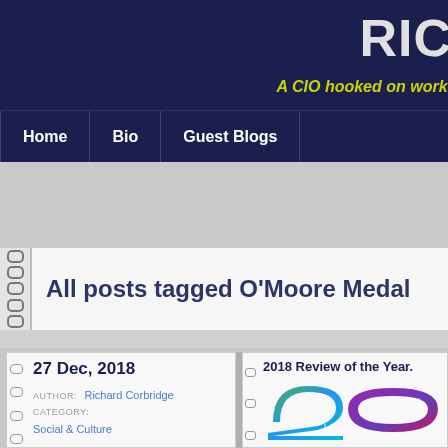RIC
A CIO hooked on worki
Home | Bio | Guest Blogs
All posts tagged O'Moore Medal
27 Dec, 2018
AUTHOR: Richard Corbridge
CATEGORY:
Social & Culture
2018 Review of the Year.
[Figure (illustration): Colorful stylized '20' numerals in green, blue, teal, and purple/pink gradient with sparkle effects]